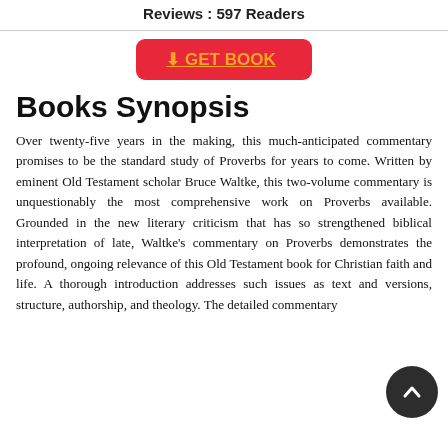Reviews : 597 Readers
[Figure (other): Red GET BOOK button with download icon and orange underlined text]
Books Synopsis
Over twenty-five years in the making, this much-anticipated commentary promises to be the standard study of Proverbs for years to come. Written by eminent Old Testament scholar Bruce Waltke, this two-volume commentary is unquestionably the most comprehensive work on Proverbs available. Grounded in the new literary criticism that has so strengthened biblical interpretation of late, Waltke's commentary on Proverbs demonstrates the profound, ongoing relevance of this Old Testament book for Christian faith and life. A thorough introduction addresses such issues as text and versions, structure, authorship, and theology. The detailed commentary